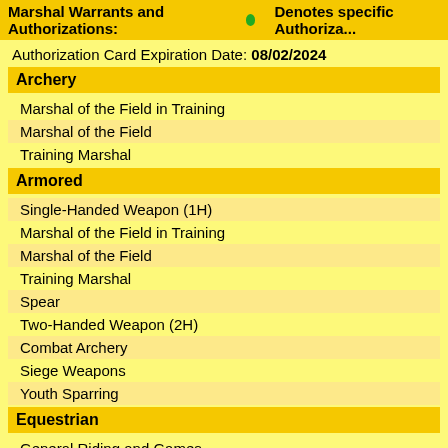Marshal Warrants and Authorizations: 🟢 Denotes specific Authoriza...
Authorization Card Expiration Date: 08/02/2024
Archery
Marshal of the Field in Training
Marshal of the Field
Training Marshal
Armored
Single-Handed Weapon (1H)
Marshal of the Field in Training
Marshal of the Field
Training Marshal
Spear
Two-Handed Weapon (2H)
Combat Archery
Siege Weapons
Youth Sparring
Equestrian
General Riding and Games
Marshal of the Field in Training
Marshal of the Field
Training Marshal
Mounted Archery